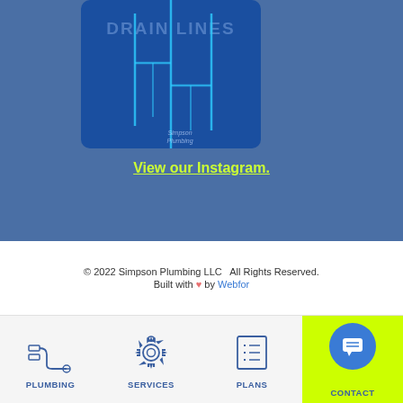[Figure (illustration): Instagram post card showing 'DRAIN LINES' text with vertical pipe lines on a dark blue background, Simpson Plumbing logo]
View our Instagram.
© 2022 Simpson Plumbing LLC  All Rights Reserved. Built with ♥ by Webfor
[Figure (infographic): Navigation bar with four items: PLUMBING (pipe icon), SERVICES (gear icon), PLANS (list icon), CONTACT (chat bubble on lime green background)]